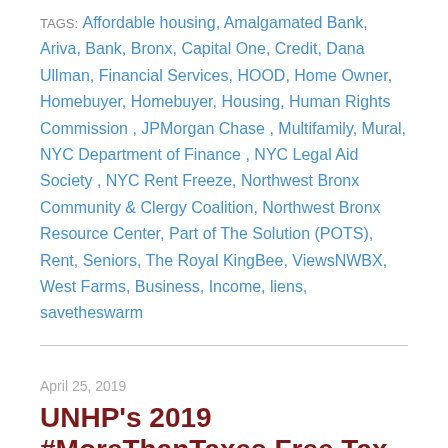TAGS: Affordable housing, Amalgamated Bank, Ariva, Bank, Bronx, Capital One, Credit, Dana Ullman, Financial Services, HOOD, Home Owner, Homebuyer, Homebuyer, Housing, Human Rights Commission , JPMorgan Chase , Multifamily, Mural, NYC Department of Finance , NYC Legal Aid Society , NYC Rent Freeze, Northwest Bronx Community & Clergy Coalition, Northwest Bronx Resource Center, Part of The Solution (POTS), Rent, Seniors, The Royal KingBee, ViewsNWBX, West Farms, Business, Income, liens, savetheswarm
April 25, 2019
UNHP's 2019 #MoreThanTaxes Free Tax